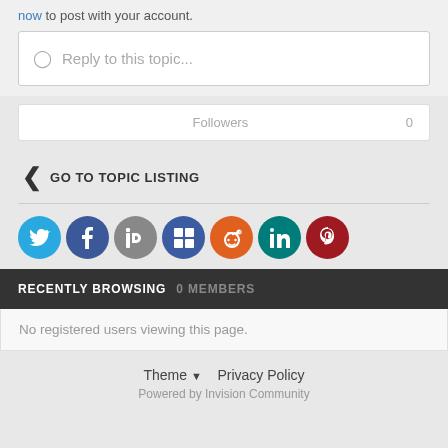now to post with your account.
Reply to this topic...
Followers  0
< GO TO TOPIC LISTING
[Figure (other): Social sharing icons: Twitter (blue), Facebook (dark blue), Digg (grey), Delicious (blue/white), Reddit (orange), LinkedIn (teal), Pinterest (dark red)]
RECENTLY BROWSING  0 MEMBERS
No registered users viewing this page.
Theme ▾  Privacy Policy
Powered by Invision Community